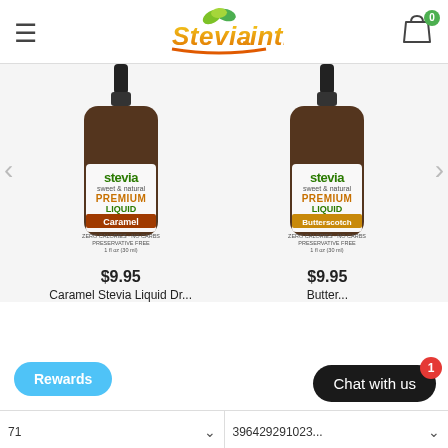Stevia Intl — navigation header with logo and cart
[Figure (photo): Stevia Caramel Premium Liquid dropper bottle 1 fl oz (30 ml)]
$9.95
Caramel Stevia Liquid Dr...
[Figure (photo): Stevia Butterscotch Premium Liquid dropper bottle 1 fl oz (30 ml)]
$9.95
Butter...
Rewards
Chat with us
39642929102...